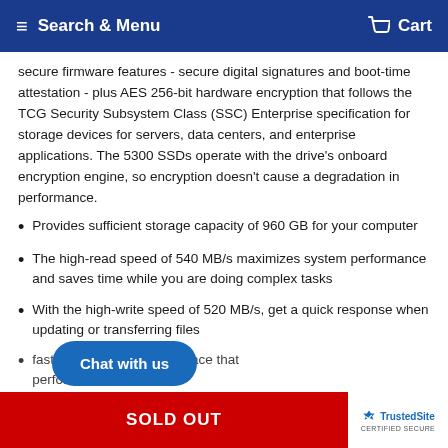Search & Menu   Cart
secure firmware features - secure digital signatures and boot-time attestation - plus AES 256-bit hardware encryption that follows the TCG Security Subsystem Class (SSC) Enterprise specification for storage devices for servers, data centers, and enterprise applications. The 5300 SSDs operate with the drive's onboard encryption engine, so encryption doesn't cause a degradation in performance.
Provides sufficient storage capacity of 960 GB for your computer
The high-read speed of 540 MB/s maximizes system performance and saves time while you are doing complex tasks
With the high-write speed of 520 MB/s, get a quick response when updating or transferring files
faster with SATA/600 interface that performance